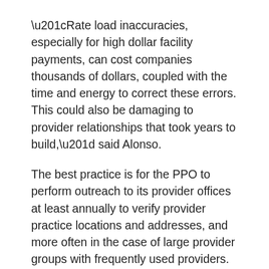“Rate load inaccuracies, especially for high dollar facility payments, can cost companies thousands of dollars, coupled with the time and energy to correct these errors. This could also be damaging to provider relationships that took years to build,” said Alonso.
The best practice is for the PPO to perform outreach to its provider offices at least annually to verify provider practice locations and addresses, and more often in the case of large provider groups with frequently used providers. “We perform a full inspection of our provider data every year, but even more frequently for our high touch, high volume and high performing groups. It is truly a team effort that we are able to achieve a near perfect internal audit accuracy score,” Coluni stated.